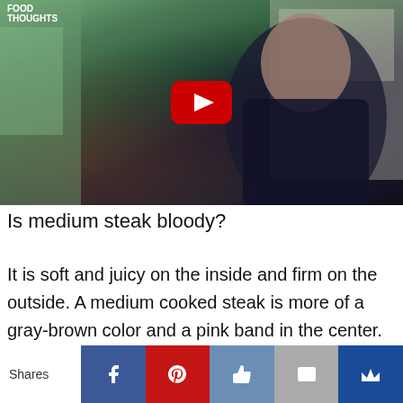[Figure (screenshot): YouTube video thumbnail showing a man cooking in a kitchen, with a red YouTube play button overlay in the center. Watermark text visible in top-left corner.]
Is medium steak bloody?
It is soft and juicy on the inside and firm on the outside. A medium cooked steak is more of a gray-brown color and a pink band in the center. They rarely have any blood and have a core temperature around 145
Shares [Facebook] [Pinterest] [Like] [Email] [Crown]